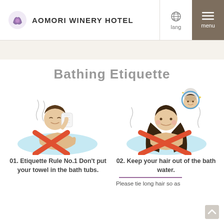AOMORI WINERY HOTEL
Bathing Etiquette
[Figure (illustration): Illustration of a person in a bath with a towel, with a red X mark indicating this is not allowed]
[Figure (illustration): Illustration of a woman in a bath with long hair down in the water and a floating emoji-face, with a red X mark indicating this is not allowed]
01. Etiquette Rule No.1 Don't put your towel in the bath tubs.
02. Keep your hair out of the bath water.
Please tie long hair so as